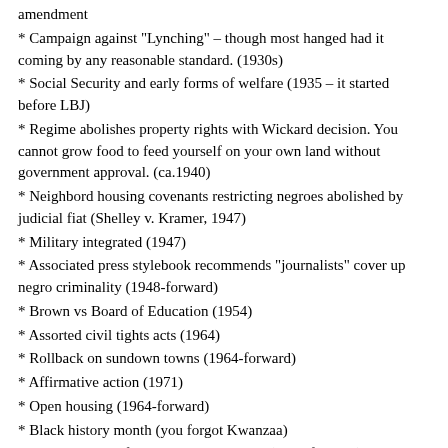amendment
* Campaign against "Lynching" – though most hanged had it coming by any reasonable standard. (1930s)
* Social Security and early forms of welfare (1935 – it started before LBJ)
* Regime abolishes property rights with Wickard decision. You cannot grow food to feed yourself on your own land without government approval. (ca.1940)
* Neighbord housing covenants restricting negroes abolished by judicial fiat (Shelley v. Kramer, 1947)
* Military integrated (1947)
* Associated press stylebook recommends "journalists" cover up negro criminality (1948-forward)
* Brown vs Board of Education (1954)
* Assorted civil tights acts (1964)
* Rollback on sundown towns (1964-forward)
* Affirmative action (1971)
* Open housing (1964-forward)
* Black history month (you forgot Kwanzaa)
* Streets named after MLK up the wazoo (1968-forward)